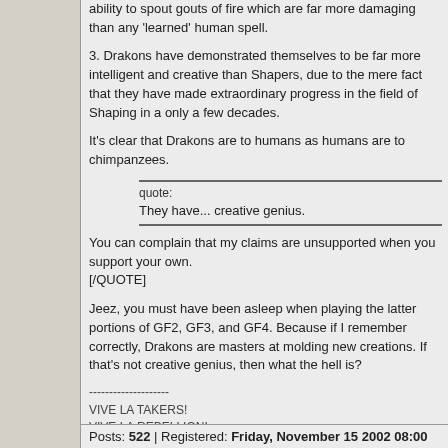ability to spout gouts of fire which are far more damaging than any 'learned' human spell.
3. Drakons have demonstrated themselves to be far more intelligent and creative than Shapers, due to the mere fact that they have made extraordinary progress in the field of Shaping in a only a few decades.
It's clear that Drakons are to humans as humans are to chimpanzees.
quote:
They have... creative genius.
You can complain that my claims are unsupported when you support your own.
[/QUOTE]
Jeez, you must have been asleep when playing the latter portions of GF2, GF3, and GF4. Because if I remember correctly, Drakons are masters at molding new creations. If that's not creative genius, then what the hell is?
--------------------
VIVE LA TAKERS!
VIVE LA REBELLION!
VIVE LA GHALDRING!
Posts: 522 | Registered: Friday, November 15 2002 08:00